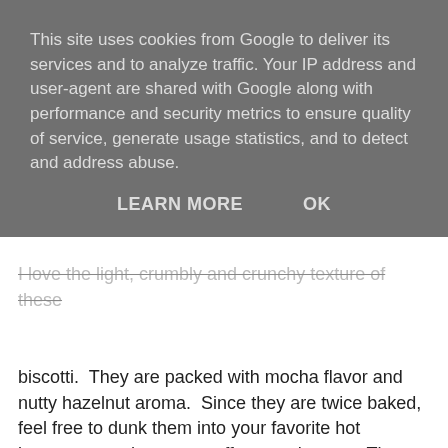This site uses cookies from Google to deliver its services and to analyze traffic. Your IP address and user-agent are shared with Google along with performance and security metrics to ensure quality of service, generate usage statistics, and to detect and address abuse.
LEARN MORE   OK
I love the light, crumbly and crunchy texture of these biscotti. They are packed with mocha flavor and nutty hazelnut aroma. Since they are twice baked, feel free to dunk them into your favorite hot beverage, such as tea, coffee, mocha, etc. The biscotti can stand the heat and moisture and won't fall apart on you! 😉
[Figure (photo): A dark chocolate-dipped biscotti being dunked into a glass bowl filled with caramel-colored liquid (coffee or mocha), photographed from above on a light wooden surface.]